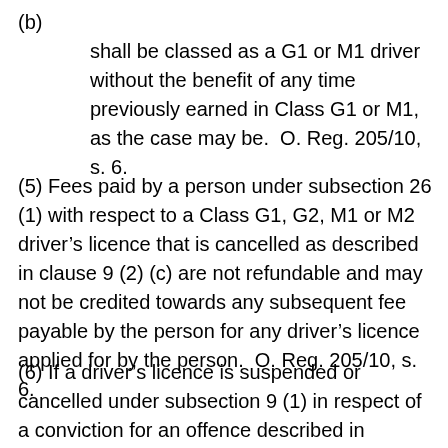(b) shall be classed as a G1 or M1 driver without the benefit of any time previously earned in Class G1 or M1, as the case may be.  O. Reg. 205/10, s. 6.
(5) Fees paid by a person under subsection 26 (1) with respect to a Class G1, G2, M1 or M2 driver’s licence that is cancelled as described in clause 9 (2) (c) are not refundable and may not be credited towards any subsequent fee payable by the person for any driver’s licence applied for by the person.  O. Reg. 205/10, s. 6.
(6) If a driver’s licence is suspended or cancelled under subsection 9 (1) in respect of a conviction for an offence described in paragraph 3 of subsection 9 (3) or in that subsection individually,